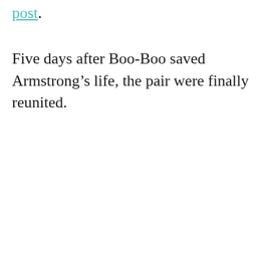post.
Five days after Boo-Boo saved Armstrong’s life, the pair were finally reunited.